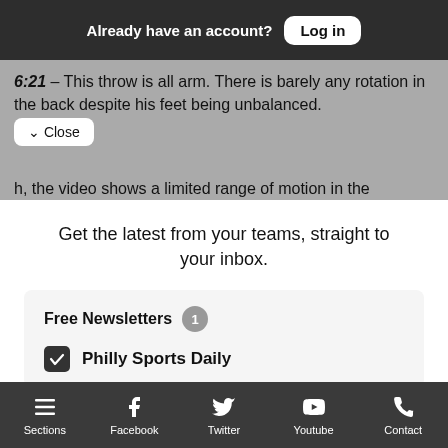Already have an account? Log in
6:21 – This throw is all arm. There is barely any rotation in the back despite his feet being unbalanced.
Close
h, the video shows a limited range of motion in the
Get the latest from your teams, straight to your inbox.
Free Newsletters 1
Philly Sports Daily
Sections  Facebook  Twitter  Youtube  Contact